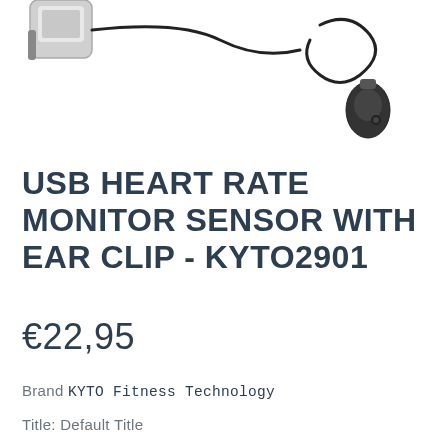[Figure (photo): Partial product photo showing a USB heart rate monitor sensor with ear clip device against white background. Left side shows a clip/device body, right side shows an earclip sensor with cable.]
USB HEART RATE MONITOR SENSOR WITH EAR CLIP - KYTO2901
€22,95
Brand KYTO Fitness Technology
Title: Default Title